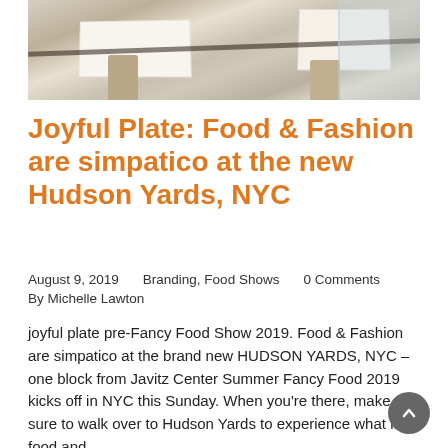[Figure (photo): Interior of a modern restaurant with white tablecloth-covered tables, beige chairs, large windows, and diners seated in the background. A dark diagonal railing or beam crosses the scene.]
Joyful Plate: Food & Fashion are simpatico at the new Hudson Yards, NYC
August 9, 2019    Branding, Food Shows    0 Comments
By Michelle Lawton
joyful plate pre-Fancy Food Show 2019. Food & Fashion are simpatico at the brand new HUDSON YARDS, NYC – one block from Javitz Center Summer Fancy Food 2019 kicks off in NYC this Sunday. When you're there, make sure to walk over to Hudson Yards to experience what is a food and